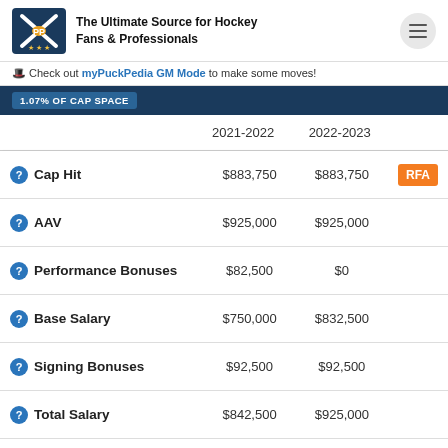PuckPedia — The Ultimate Source for Hockey Fans & Professionals
🎩 Check out myPuckPedia GM Mode to make some moves!
1.07% OF CAP SPACE
|  | 2021-2022 | 2022-2023 |
| --- | --- | --- |
| Cap Hit | $883,750 | $883,750 |
| AAV | $925,000 | $925,000 |
| Performance Bonuses | $82,500 | $0 |
| Base Salary | $750,000 | $832,500 |
| Signing Bonuses | $92,500 | $92,500 |
| Total Salary | $842,500 | $925,000 |
| Minors Salary | $80,000 | $80,000 |
| Clauses |  |  |